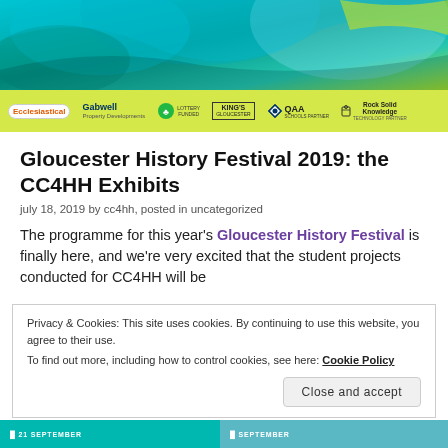[Figure (illustration): Header banner image with teal/blue abstract background and sponsor bar below showing logos: Ecclesiastical, Gabwell Property Developments, Lottery Funded, Kings, QAA Schools Partner, Rock Solid Knowledge Technology Partner on a yellow-green background]
Gloucester History Festival 2019: the CC4HH Exhibits
july 18, 2019 by cc4hh, posted in uncategorized
The programme for this year's Gloucester History Festival is finally here, and we're very excited that the student projects conducted for CC4HH will be
Privacy & Cookies: This site uses cookies. By continuing to use this website, you agree to their use.
To find out more, including how to control cookies, see here: Cookie Policy
Close and accept
[Figure (screenshot): Bottom strip showing two teal/blue colored blocks with 'SEPTEMBER' text labels]